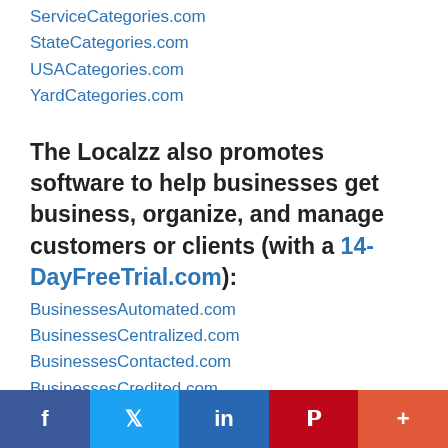ServiceCategories.com
StateCategories.com
USACategories.com
YardCategories.com
The Localzz also promotes software to help businesses get business, organize, and manage customers or clients (with a 14-DayFreeTrial.com):
BusinessesAutomated.com
BusinessesCentralized.com
BusinessesContacted.com
BusinessesCredited.com
BusinessesDigitalized.com
BusinessesEngaged.com
f  Twitter  in  P  +